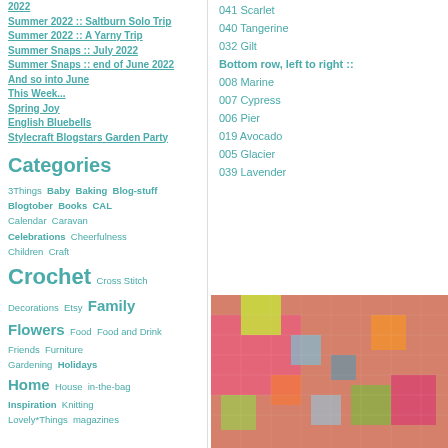2022
Summer 2022 :: Saltburn Solo Trip
Summer 2022 :: A Yarny Trip
Summer Snaps :: July 2022
Summer Snaps :: end of June 2022
And so into June
This Week...
Spring Joy
English Bluebells
Stylecraft Blogstars Garden Party
Categories
3Things Baby Baking Blog-stuff Blogtober Books CAL Calendar Caravan Celebrations Cheerfulness Children Craft Crochet Cross Stitch Decorations Etsy Family Flowers Food Food and Drink Friends Furniture Gardening Holidays Home House in-the-bag Inspiration Knitting Lovely*Things magazines
041 Scarlet
040 Tangerine
032 Gilt
Bottom row, left to right ::
008 Marine
007 Cypress
006 Pier
019 Avocado
005 Glacier
039 Lavender
[Figure (photo): Close-up photo of a colorful crocheted blanket with pink, yellow, green, blue and orange granny squares pattern]